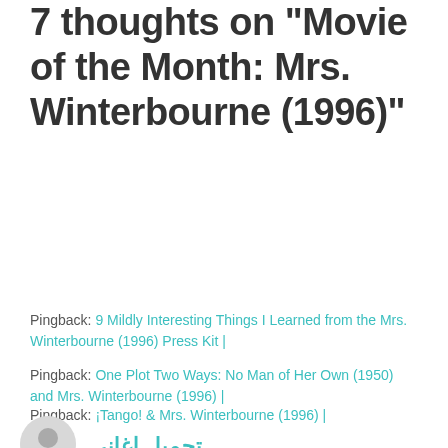7 thoughts on "Movie of the Month: Mrs. Winterbourne (1996)"
Pingback: 9 Mildly Interesting Things I Learned from the Mrs. Winterbourne (1996) Press Kit |
Pingback: One Plot Two Ways: No Man of Her Own (1950) and Mrs. Winterbourne (1996) |
Pingback: ¡Tango! & Mrs. Winterbourne (1996) |
تحميل اغانى